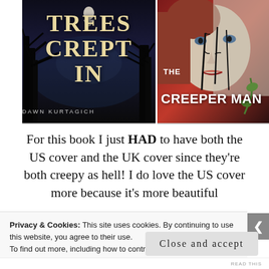[Figure (illustration): Two book covers side by side. Left: 'Trees Crept In' by Dawn Kurtagich — dark atmospheric cover with bare trees and a figure in white, golden distressed lettering. Right: 'The Creeper Man' — horror cover featuring a girl's face with black drips/cracks, dark red and grey tones.]
For this book I just HAD to have both the US cover and the UK cover since they're both creepy as hell! I do love the US cover more because it's more beautiful
Privacy & Cookies: This site uses cookies. By continuing to use this website, you agree to their use.
To find out more, including how to control cookies, see here: Cookie Policy
Close and accept